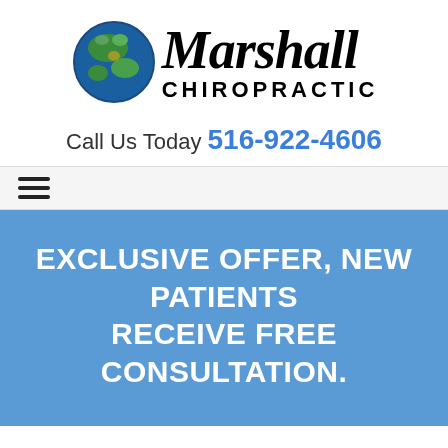[Figure (logo): Marshall Chiropractic logo with globe icon and stylized text]
Call Us Today 516-922-4606
[Figure (other): Hamburger menu icon (three horizontal lines)]
EXCLUSIVE OFFER, NEW PATIENTS RECEIVE FREE CONSULTATION.
Meet the Chiropractor